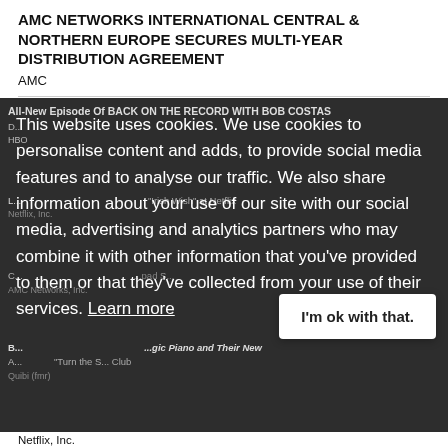AMC NETWORKS INTERNATIONAL CENTRAL & NORTHERN EUROPE SECURES MULTI-YEAR DISTRIBUTION AGREEMENT
AMC
[Figure (screenshot): A dark overlay cookie consent popup over a news listing page. The popup contains cookie consent text and a button 'I'm ok with that.' Behind the overlay, partially visible news headlines and source names (HBO, Netflix, AMC, Quibi, etc.) are shown in grey. A white rounded button reads 'I'm ok with that.' The cookie text reads: 'This website uses cookies. We use cookies to personalise content and adds, to provide social media features and to analyse our traffic. We also share information about your use of our site with our social media, advertising and analytics partners who may combine it with other information that you've provided to them or that they've collected from your use of their services. Learn more'. At the bottom of the overlay: '"Who Likes My Follower" - Official Trailer - Netflix']
Netflix, Inc.